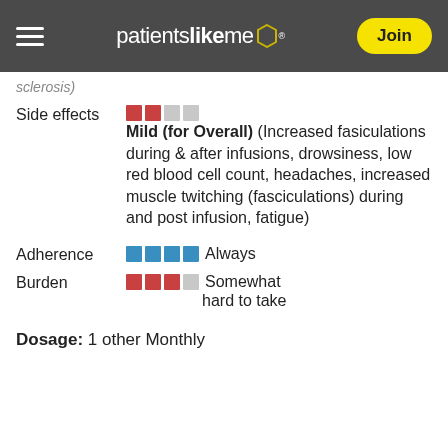patientslikeme — Join
sclerosis)
Side effects — Mild (for Overall) (Increased fasiculations during & after infusions, drowsiness, low red blood cell count, headaches, increased muscle twitching (fasciculations) during and post infusion, fatigue)
Adherence — Always
Burden — Somewhat hard to take
Dosage: 1 other Monthly